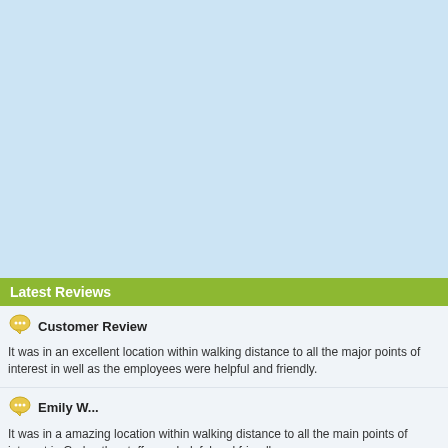[Figure (other): Large blue/white blank area at the top of the page, representing a map or image placeholder]
Latest Reviews
Customer Review
It was in an excellent location within walking distance to all the major points of interest in well as the employees were helpful and friendly.
Emily W...
It was in a amazing location within walking distance to all the main points of interest in G also the staff were helpful and friendly.
John D...
Great Place! Interesting staff and travellers to hang out with. Fantastic record collection...